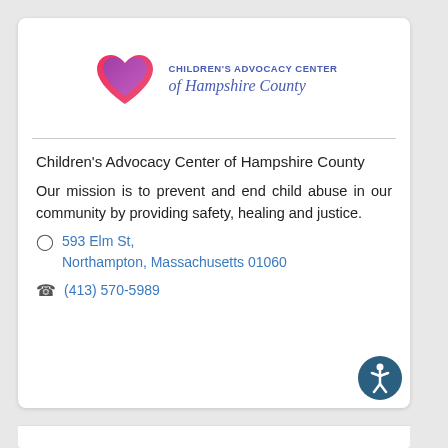[Figure (logo): Children's Advocacy Center of Hampshire County logo with heart graphic and organization name in blue/purple text]
Children's Advocacy Center of Hampshire County
Our mission is to prevent and end child abuse in our community by providing safety, healing and justice.
593 Elm St, Northampton, Massachusetts 01060
(413) 570-5989